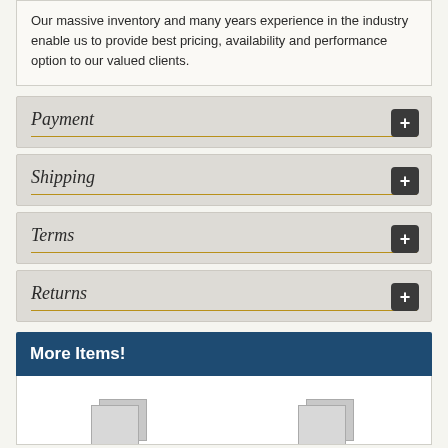Our massive inventory and many years experience in the industry enable us to provide best pricing, availability and performance option to our valued clients.
Payment
Shipping
Terms
Returns
More Items!
[Figure (illustration): Two placeholder product images shown at the bottom of the page]